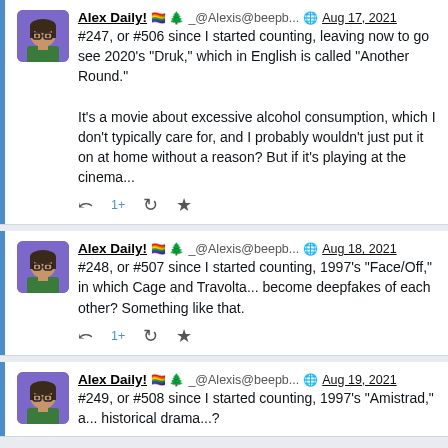Alex Daily! 🏳️‍🌈 🌲 _@Alexis@beepb... 🌐 Aug 17, 2021
#247, or #506 since I started counting, leaving now to go see 2020's "Druk," which in English is called "Another Round."

It's a movie about excessive alcohol consumption, which I don't typically care for, and I probably wouldn't just put it on at home without a reason? But if it's playing at the cinema...
Alex Daily! 🏳️‍🌈 🌲 _@Alexis@beepb... 🌐 Aug 18, 2021
#248, or #507 since I started counting, 1997's "Face/Off," in which Cage and Travolta... become deepfakes of each other? Something like that.
Alex Daily! 🏳️‍🌈 🌲 _@Alexis@beepb... 🌐 Aug 19, 2021
#249, or #508 since I started counting, 1997's "Amistrad," a... historical drama...?